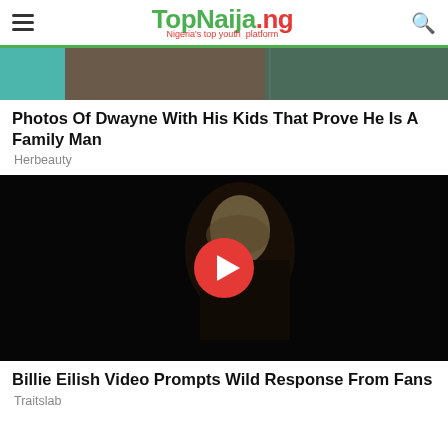TopNaija.ng — Nigeria's top youth platform
[Figure (photo): Cropped top of article image showing a person with children, partially visible]
Photos Of Dwayne With His Kids That Prove He Is A Family Man
Herbeauty
[Figure (photo): Video thumbnail showing a young woman in a black tank top against a dark background, with a YouTube-style red play button overlay]
Billie Eilish Video Prompts Wild Response From Fans
Traitslab